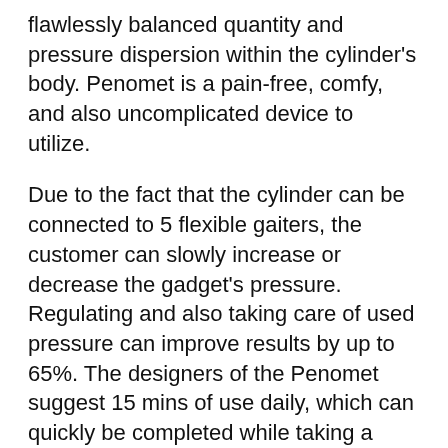flawlessly balanced quantity and pressure dispersion within the cylinder's body. Penomet is a pain-free, comfy, and also uncomplicated device to utilize.
Due to the fact that the cylinder can be connected to 5 flexible gaiters, the customer can slowly increase or decrease the gadget's pressure. Regulating and also taking care of used pressure can improve results by up to 65%. The designers of the Penomet suggest 15 mins of use daily, which can quickly be completed while taking a shower or bathroom.
HOW TO USE PENOMET?
For those that have actually never used a penis pump previously, the Penomet is